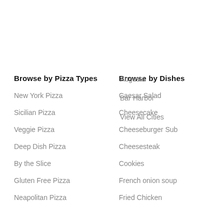Augusta
Bar Harbor
View All Cities
Browse by Pizza Types
Browse by Dishes
New York Pizza
Caesar Salad
Sicilian Pizza
Cheesecake
Veggie Pizza
Cheeseburger Sub
Deep Dish Pizza
Cheesesteak
By the Slice
Cookies
Gluten Free Pizza
French onion soup
Neapolitan Pizza
Fried Chicken